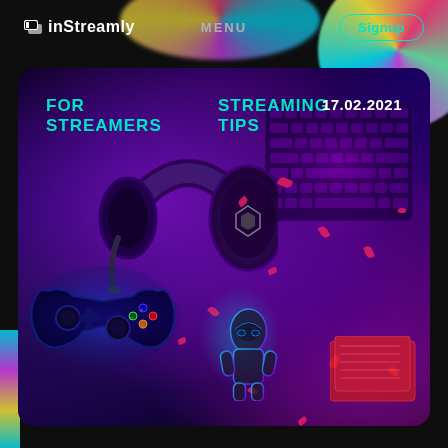[Figure (other): Holographic iridescent bubble decoration top-right]
inStreamly   MENU   Signup
[Figure (photo): Gaming setup overhead photo showing gaming headset, mechanical keyboard with purple RGB lighting, PS4 controller in blue light, stormtrooper figurine, pink/red confetti petals scattered on dark surface. Card has rounded corners on dark background.]
FOR STREAMERS   STREAMING TIPS   17.02.2021